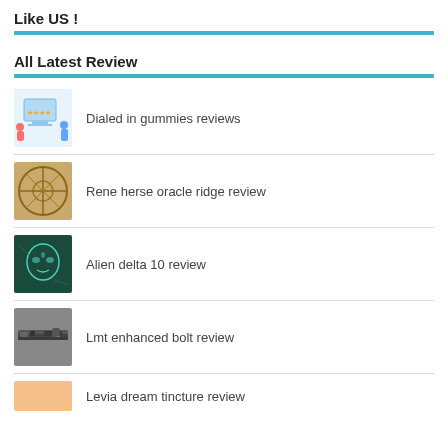Like US !
All Latest Review
Dialed in gummies reviews
Rene herse oracle ridge review
Alien delta 10 review
Lmt enhanced bolt review
Levia dream tincture review